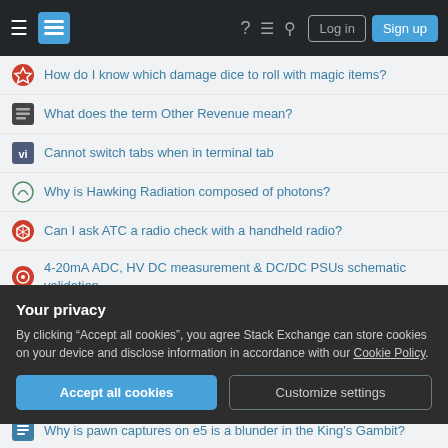Stack Exchange navigation header with Log in and Sign up buttons
How do I know which damage dice to roll with magic items?
What does the term Other Revenue mean?
Cannot switch tabs when in terminal tab
Why is Hawking Radiation composed of photons?
Can I ask ATC a radio check with a handheld radio?
4-20mA ADC, HV DC measurement & DC/DC PSUs schematic validation
Understanding of SQL Server version store
Getting jq error when using variable in command line
Your privacy
By clicking “Accept all cookies”, you agree Stack Exchange can store cookies on your device and disclose information in accordance with our Cookie Policy.
Why is pawn captures on e5 is a blunder in the King's Gambit?